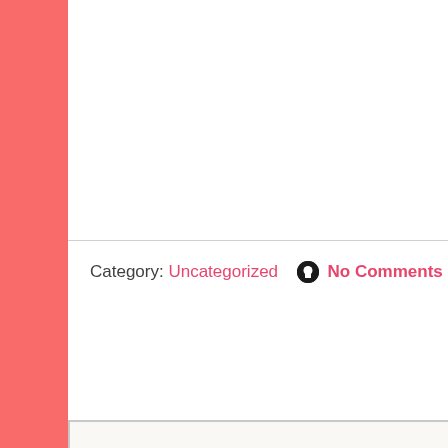Category: Uncategorized  No Comments
Comment Form
You must be logged in to post a comment.